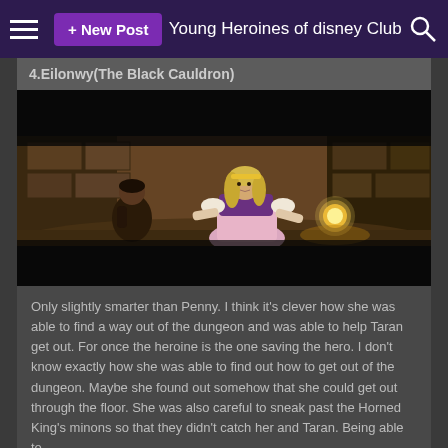+ New Post   Young Heroines of disney Club
4.Eilonwy(The Black Cauldron)
[Figure (illustration): Animated scene from The Black Cauldron showing Eilonwy, a blonde girl in a pink and purple dress, crouching in a dungeon cave with a dark-haired boy behind her and a glowing orb of light nearby.]
Only slightly smarter than Penny. I think it's clever how she was able to find a way out of the dungeon and was able to help Taran get out. For once the heroine is the one saving the hero. I don't know exactly how she was able to find out how to get out of the dungeon. Maybe she found out somehow that she could get out through the floor. She was also careful to sneak past the Horned King's minons so that they didn't catch her and Taran. Being able to